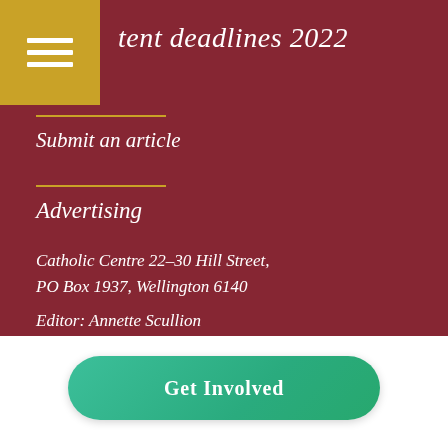tent deadlines 2022
Submit an article
Advertising
Catholic Centre 22-30 Hill Street,
PO Box 1937, Wellington 6140
Editor: Annette Scullion
Ph: 04 496 1712
welcom@wn.catholic.org.nz
Advertising:
Ph: 027 489 8017
welcomads@xtra.co.n
Get Involved